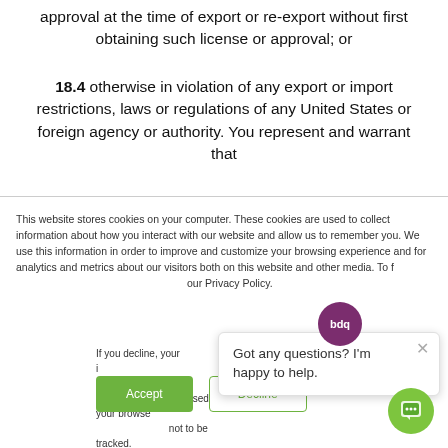approval at the time of export or re-export without first obtaining such license or approval; or
18.4 otherwise in violation of any export or import restrictions, laws or regulations of any United States or foreign agency or authority. You represent and warrant that
This website stores cookies on your computer. These cookies are used to collect information about how you interact with our website and allow us to remember you. We use this information in order to improve and customize your browsing experience and for analytics and metrics about our visitors both on this website and other media. To find out more about the cookies we use, see our Privacy Policy.
If you decline, your information won't be tracked when you visit this website. A single cookie will be used in your browser to remember your preference not to be tracked.
Got any questions? I'm happy to help.